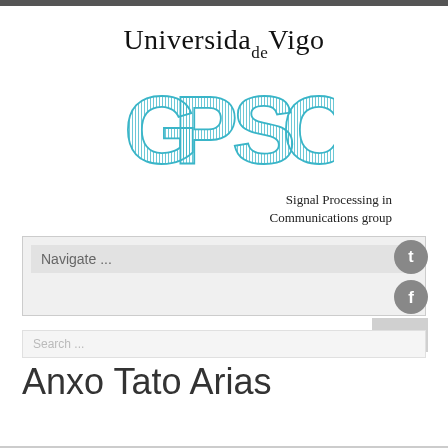[Figure (logo): Universidade de Vigo university logo text]
[Figure (logo): GPSC Signal Processing in Communications group logo with teal striped letters]
Signal Processing in
Communications group
Navigate ...
Search ...
Anxo Tato Arias